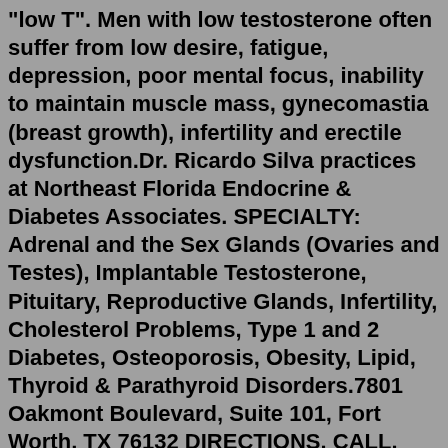"low T". Men with low testosterone often suffer from low desire, fatigue, depression, poor mental focus, inability to maintain muscle mass, gynecomastia (breast growth), infertility and erectile dysfunction.Dr. Ricardo Silva practices at Northeast Florida Endocrine & Diabetes Associates. SPECIALTY: Adrenal and the Sex Glands (Ovaries and Testes), Implantable Testosterone, Pituitary, Reproductive Glands, Infertility, Cholesterol Problems, Type 1 and 2 Diabetes, Osteoporosis, Obesity, Lipid, Thyroid & Parathyroid Disorders.7801 Oakmont Boulevard, Suite 101, Fort Worth, TX 76132 DIRECTIONS. CALL. Since 2010. Here's The Deal: Dr. Anjanette Tan is board certified in endocrinology, diabetes, and metabolism by the American board of internal medicine. She completed her medical school at the University of the Philippines College of Medicine.Worcester Massachusetts Endocrinologist Doctors physician directory - Low testosterone or low-T, occurs in men and women due to underproduction of testosterone. Symptoms of